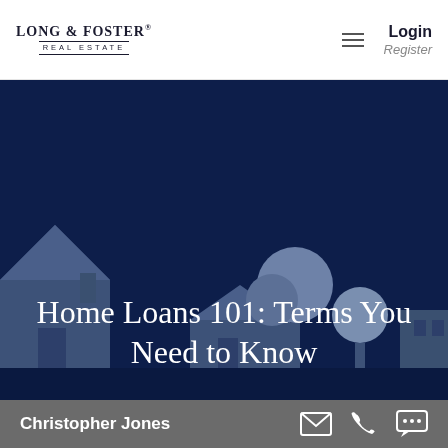[Figure (logo): Long & Foster Real Estate logo — company name in serif font with decorative lines and 'REAL ESTATE' subtitle]
Login
Register
[Figure (illustration): Dark navy blue hero banner with silhouette illustration of houses and trees in muted blue tones]
Home Loans 101: Terms You Need to Know
Christopher Jones